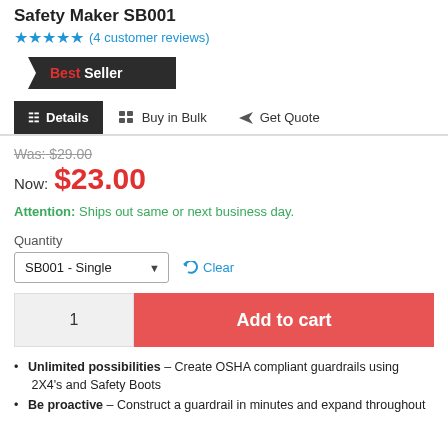Safety Maker SB001
★★★★★ (4 customer reviews)
Best Seller
Details | Buy in Bulk | Get Quote
Was: $29.00
Now: $23.00
Attention: Ships out same or next business day.
Quantity
SB001 - Single | Clear
1 | Add to cart
Unlimited possibilities – Create OSHA compliant guardrails using  2X4's and Safety Boots
Be proactive – Construct a guardrail in minutes and expand throughout